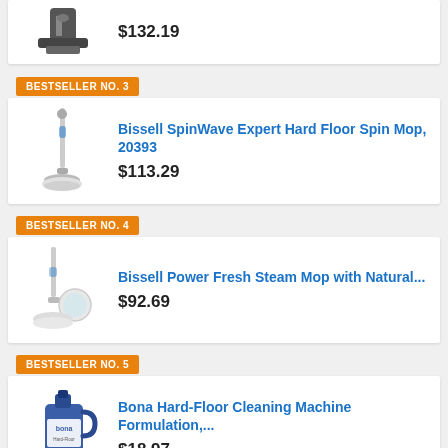[Figure (photo): Vacuum/floor cleaner product image (top, partial)]
$132.19
BESTSELLER NO. 3
[Figure (photo): Bissell SpinWave Expert Hard Floor Spin Mop product image]
Bissell SpinWave Expert Hard Floor Spin Mop, 20393
$113.29
BESTSELLER NO. 4
[Figure (photo): Bissell Power Fresh Steam Mop product image]
Bissell Power Fresh Steam Mop with Natural...
$92.69
BESTSELLER NO. 5
[Figure (photo): Bona Hard-Floor Cleaning Machine Formulation product image (jug)]
Bona Hard-Floor Cleaning Machine Formulation,...
$18.97
BESTSELLER NO. 6
SALE
[Figure (photo): Cordless Electric Mop, Electric Spin Mop product image (partial)]
Cordless Electric Mop, Electric Spin Mop with LED...